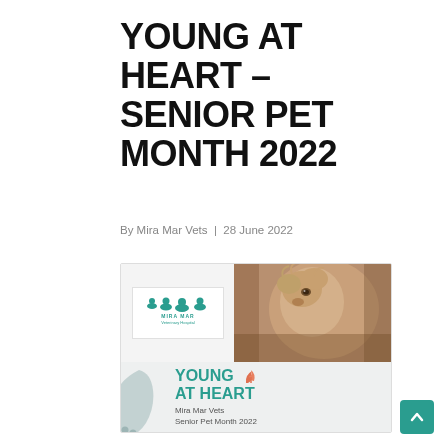YOUNG AT HEART – SENIOR PET MONTH 2022
By Mira Mar Vets  |  28 June 2022
[Figure (illustration): Promotional image for Young at Heart Senior Pet Month 2022. Top half: Mira Mar Veterinary Hospital logo on white background (left) and a sepia-toned photo of a small fluffy dog looking upward (right). Bottom half: light grey background with a teal decorative blob/shape on the left, bold teal text reading 'YOUNG AT HEART' with orange leaf/sprout icon, and smaller text reading 'Mira Mar Vets Senior Pet Month 2022'.]